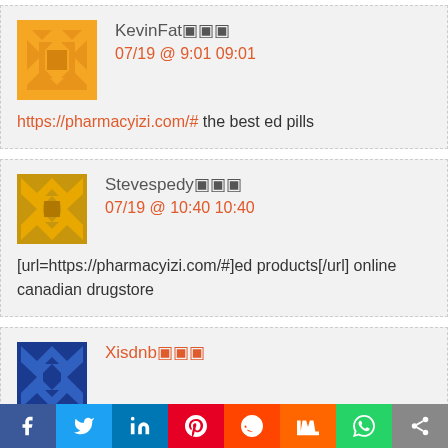KevinFat🔲🔲🔲
07/19 @ 9:01 09:01
https://pharmacyizi.com/# the best ed pills
Stevespedy🔲🔲🔲
07/19 @ 10:40 10:40
[url=https://pharmacyizi.com/#]ed products[/url] online canadian drugstore
Xisdnb🔲🔲🔲